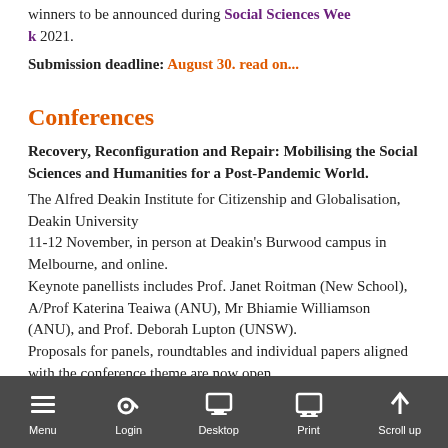winners to be announced during Social Sciences Week 2021.
Submission deadline: August 30. read on...
Conferences
Recovery, Reconfiguration and Repair: Mobilising the Social Sciences and Humanities for a Post-Pandemic World.
The Alfred Deakin Institute for Citizenship and Globalisation, Deakin University
11-12 November, in person at Deakin's Burwood campus in Melbourne, and online.
Keynote panellists includes Prof. Janet Roitman (New School), A/Prof Katerina Teaiwa (ANU), Mr Bhiamie Williamson (ANU), and Prof. Deborah Lupton (UNSW).
Proposals for panels, roundtables and individual papers aligned with the conference theme are now open.